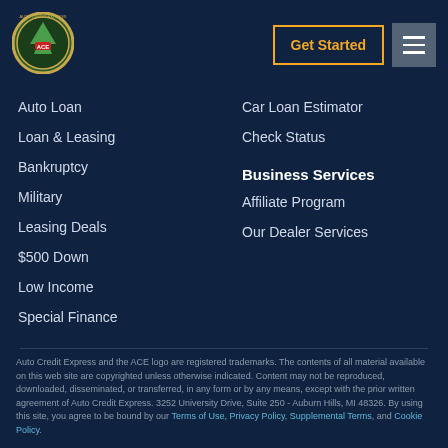[Figure (logo): ACE (Auto Credit Express) circular logo with green tree and red badge]
Get Started
Auto Loan
Loan & Leasing
Bankruptcy
Military
Leasing Deals
$500 Down
Low Income
Special Finance
Car Loan Estimator
Check Status
Business Services
Affiliate Program
Our Dealer Services
Auto Credit Express and the ACE logo are registered trademarks. The contents of all material available on this web site are copyrighted unless otherwise indicated. Content may not be reproduced, downloaded, disseminated, or transferred, in any form or by any means, except with the prior written agreement of Auto Credit Express. 3252 University Drive, Suite 250 - Auburn Hills, MI 48326. By using this site, you agree to be bound by our Terms of Use, Privacy Policy, Supplemental Terms, and Cookie Policy.